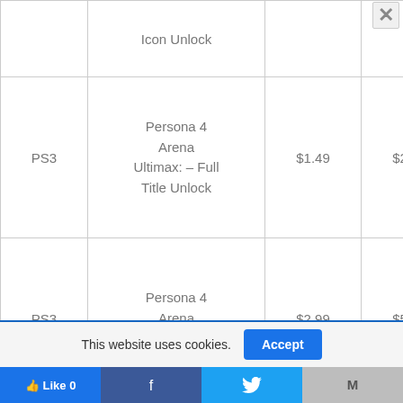|  | Icon Unlock |  |  |
| --- | --- | --- | --- |
| PS3 | Persona 4 Arena Ultimax: – Full Title Unlock | $1.49 | $2.99 |
| PS3 | Persona 4 Arena Ultimax: – | $2.99 | $5.99 |
This website uses cookies.
Accept